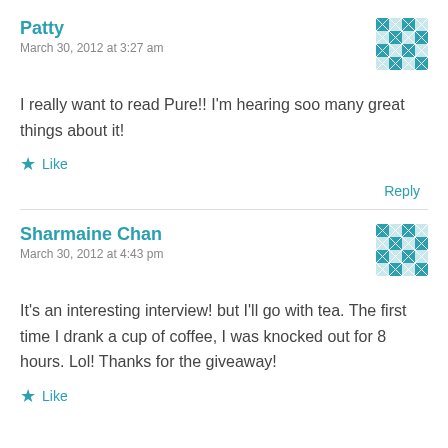Patty
March 30, 2012 at 3:27 am
[Figure (illustration): Teal and white quilted/geometric pattern avatar for Patty]
I really want to read Pure!! I'm hearing soo many great things about it!
★ Like
Reply
Sharmaine Chan
March 30, 2012 at 4:43 pm
[Figure (illustration): Teal and white quilted/geometric pattern avatar for Sharmaine Chan]
It's an interesting interview! but I'll go with tea. The first time I drank a cup of coffee, I was knocked out for 8 hours. Lol! Thanks for the giveaway!
★ Like